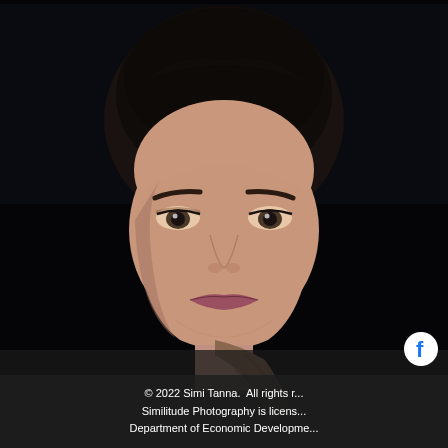[Figure (photo): Close-up portrait photograph of a woman with dark hair pulled back, looking directly at the camera. She has defined eyebrows, subtle eye makeup, and rests her hand near her chin. The background is very dark/black. The image is cropped so only her face and partial hand/neck are visible.]
[Figure (logo): Facebook logo icon — white 'f' on a circular background, positioned in the lower right area of the page.]
© 2022 Simi Tanna.  All rights r... Similitude Photography is licens... Department of Economic Developme...